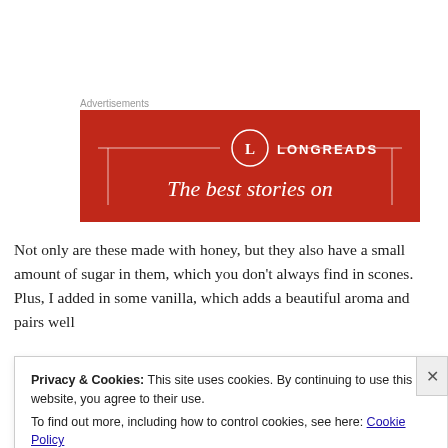Advertisements
[Figure (logo): Longreads advertisement banner: red background with circular L logo, horizontal lines, and text 'The best stories on']
Not only are these made with honey, but they also have a small amount of sugar in them, which you don't always find in scones.  Plus, I added in some vanilla, which adds a beautiful aroma and pairs well
Privacy & Cookies: This site uses cookies. By continuing to use this website, you agree to their use.
To find out more, including how to control cookies, see here: Cookie Policy
Close and accept